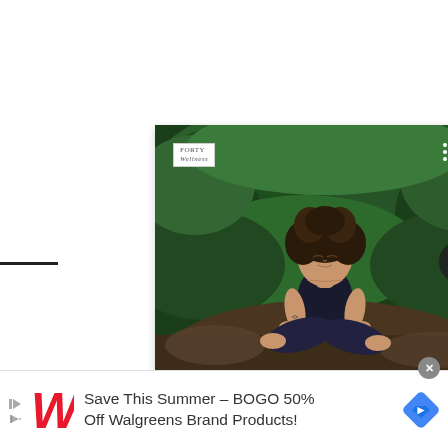[Figure (screenshot): Screenshot of a web article card showing a woman meditating in lotus position in a lush green forest setting, with a logo badge top-left, three-dot menu and X close button top-right, and a right arrow navigation button.]
Modern NirvanaShares 5Natural WaysTo Boost YourWellness - 21Ninety
[Figure (screenshot): Advertisement banner for Walgreens showing Walgreens W logo in red script, text 'Save This Summer - BOGO 50% Off Walgreens Brand Products!' and a Google ad diamond icon on the right.]